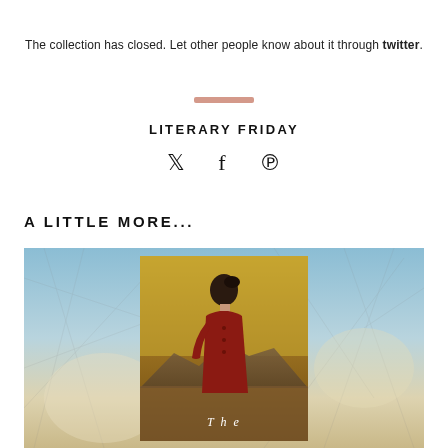The collection has closed. Let other people know about it through twitter.
LITERARY FRIDAY
[Figure (infographic): Social media share icons: Twitter bird, Facebook f, Pinterest logo]
A LITTLE MORE...
[Figure (photo): Book cover image showing a woman in a red dress viewed from the side, standing against a desert/mountain landscape background with a distressed map texture overlay. The word 'THE' is partially visible at the bottom of the book cover.]